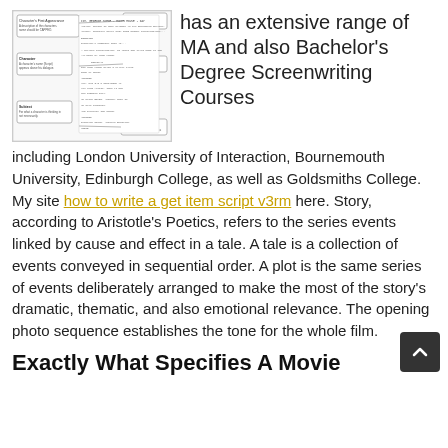[Figure (schematic): A flowchart/diagram showing screenplay elements including Character, Dialogue, Subtext, Parenthetical, Voice, and other screenplay structure labels with connecting lines and boxes.]
has an extensive range of MA and also Bachelor's Degree Screenwriting Courses including London University of Interaction, Bournemouth University, Edinburgh College, as well as Goldsmiths College. My site how to write a get item script v3rm here. Story, according to Aristotle's Poetics, refers to the series events linked by cause and effect in a tale. A tale is a collection of events conveyed in sequential order. A plot is the same series of events deliberately arranged to make the most of the story's dramatic, thematic, and also emotional relevance. The opening photo sequence establishes the tone for the whole film.
Exactly What Specifies A Movie